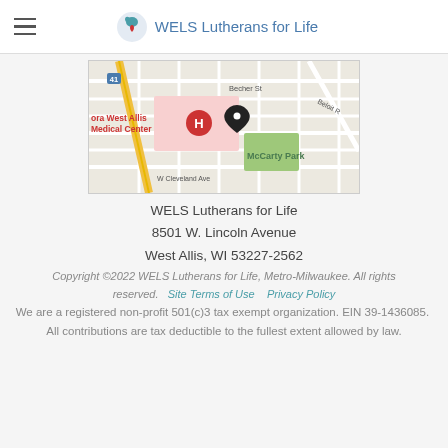WELS Lutherans for Life
[Figure (map): Google Maps screenshot showing location near Aurora West Allis Medical Center with a pin marker near Becher St, showing McCarty Park and W Cleveland Ave]
WELS Lutherans for Life
8501 W. Lincoln Avenue
West Allis, WI 53227-2562
Copyright ©2022 WELS Lutherans for Life, Metro-Milwaukee. All rights reserved.   Site Terms of Use    Privacy Policy
We are a registered non-profit 501(c)3 tax exempt organization. EIN 39-1436085.  All contributions are tax deductible to the fullest extent allowed by law.